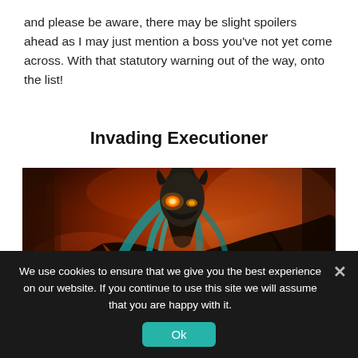and please be aware, there may be slight spoilers ahead as I may just mention a boss you've not yet come across. With that statutory warning out of the way, onto the list!
Invading Executioner
[Figure (photo): Dark fantasy game screenshot showing a creature with an elongated skull-like head, glowing orange eyes, flowing teal hair/tendrils, and dark biomechanical body against a fiery orange-red background.]
We use cookies to ensure that we give you the best experience on our website. If you continue to use this site we will assume that you are happy with it.